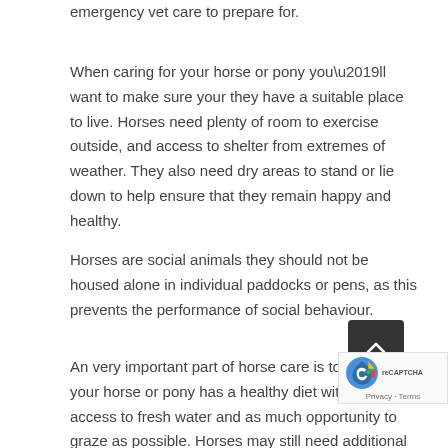emergency vet care to prepare for.
When caring for your horse or pony you’ll want to make sure your they have a suitable place to live. Horses need plenty of room to exercise outside, and access to shelter from extremes of weather. They also need dry areas to stand or lie down to help ensure that they remain happy and healthy.
Horses are social animals they should not be housed alone in individual paddocks or pens, as this prevents the performance of social behaviour.
An very important part of horse care is to make sure your horse or pony has a healthy diet with constan access to fresh water and as much opportunity to graze as possible. Horses may still need additional